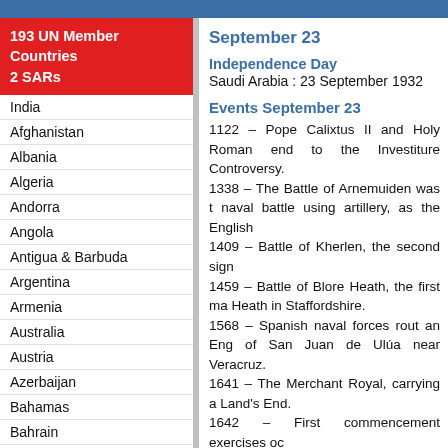193 UN Member Countries
2 SARs
India
Afghanistan
Albania
Algeria
Andorra
Angola
Antigua & Barbuda
Argentina
Armenia
Australia
Austria
Azerbaijan
Bahamas
Bahrain
Bangladesh
September 23
Independence Day
Saudi Arabia : 23 September 1932
Events September 23
1122 – Pope Calixtus II and Holy Roman end to the Investiture Controversy.
1338 – The Battle of Arnemuiden was t naval battle using artillery, as the English
1409 – Battle of Kherlen, the second sign
1459 – Battle of Blore Heath, the first ma Heath in Staffordshire.
1568 – Spanish naval forces rout an Eng of San Juan de Ulúa near Veracruz.
1641 – The Merchant Royal, carrying a Land's End.
1642 – First commencement exercises oc
1779 – American Revolution: John Paul J of Flamborough Head.
1780 – American Revolution: British Ma exposing Benedict Arnold's change of sid
1803 – Second Anglo-Maratha War: Batt Maratha Empire in India.
1806 – Lewis and Clark return to St. Loui
1821 – Tripolitsa, Greece, falls and Independence.